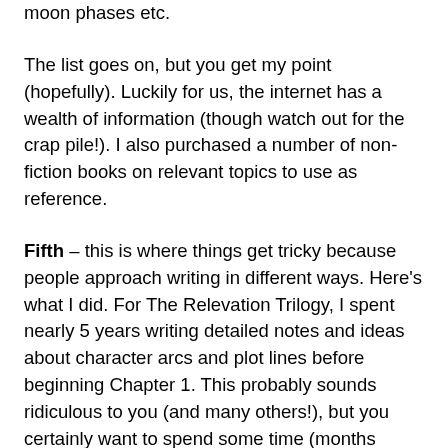moon phases etc.
The list goes on, but you get my point (hopefully). Luckily for us, the internet has a wealth of information (though watch out for the crap pile!). I also purchased a number of non-fiction books on relevant topics to use as reference.
Fifth – this is where things get tricky because people approach writing in different ways. Here's what I did. For The Relevation Trilogy, I spent nearly 5 years writing detailed notes and ideas about character arcs and plot lines before beginning Chapter 1. This probably sounds ridiculous to you (and many others!), but you certainly want to spend some time (months